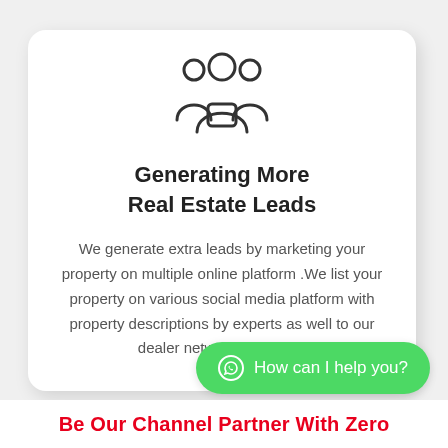[Figure (illustration): Three people silhouette icon (group of people outline)]
Generating More Real Estate Leads
We generate extra leads by marketing your property on multiple online platform .We list your property on various social media platform with property descriptions by experts as well to our dealer networks platform.
[Figure (other): WhatsApp chat button with text: How can I help you?]
Be Our Channel Partner With Zero